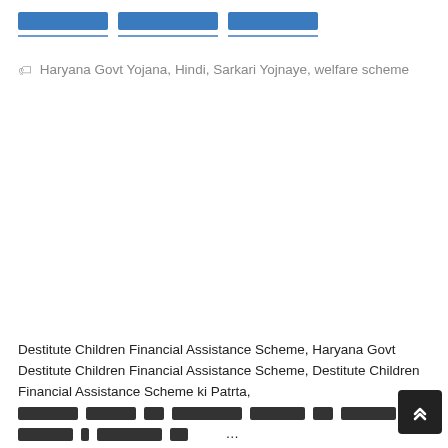[Hindi text - Destitute Children Financial Assistance Scheme title in Hindi script]
🏷 Haryana Govt Yojana, Hindi, Sarkari Yojnaye, welfare scheme
Destitute Children Financial Assistance Scheme, Haryana Govt Destitute Children Financial Assistance Scheme, Destitute Children Financial Assistance Scheme ki Patrta, [Hindi text], [Hindi text] ...